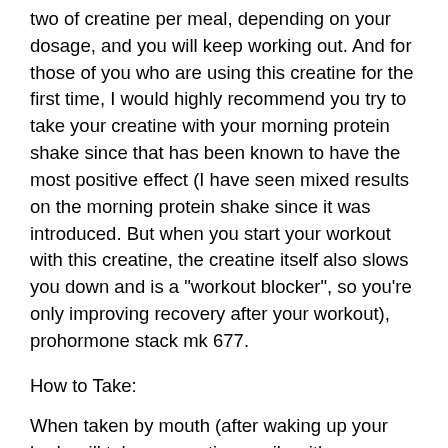two of creatine per meal, depending on your dosage, and you will keep working out. And for those of you who are using this creatine for the first time, I would highly recommend you try to take your creatine with your morning protein shake since that has been known to have the most positive effect (I have seen mixed results on the morning protein shake since it was introduced. But when you start your workout with this creatine, the creatine itself also slows you down and is a "workout blocker", so you're only improving recovery after your workout), prohormone stack mk 677.
How to Take:
When taken by mouth (after waking up your body will take up creatine easily with your lungs, muscles and heart), you take two to four grams a day at any time of